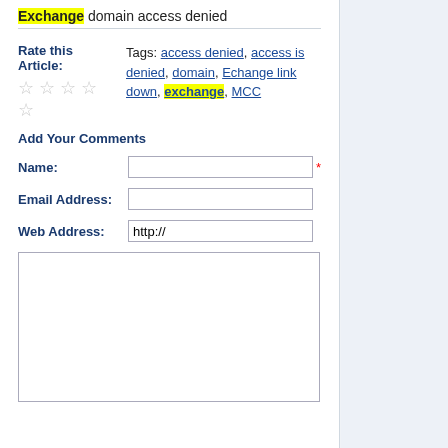Exchange domain access denied
Rate this Article: Tags: access denied, access is denied, domain, Echange link down, exchange, MCC
Add Your Comments
Name: (required field)
Email Address:
Web Address: http://